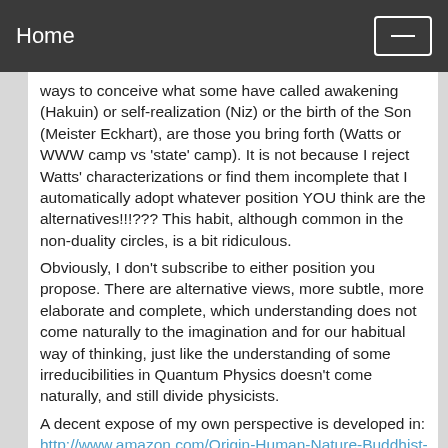Home
ways to conceive what some have called awakening (Hakuin) or self-realization (Niz) or the birth of the Son (Meister Eckhart), are those you bring forth (Watts or WWW camp vs 'state' camp). It is not because I reject Watts' characterizations or find them incomplete that I automatically adopt whatever position YOU think are the alternatives!!!??? This habit, although common in the non-duality circles, is a bit ridiculous.
Obviously, I don't subscribe to either position you propose. There are alternative views, more subtle, more elaborate and complete, which understanding does not come naturally to the imagination and for our habitual way of thinking, just like the understanding of some irreducibilities in Quantum Physics doesn't come naturally, and still divide physicists.
A decent expose of my own perspective is developed in: http://www.amazon.com/Origin-Human-Nature-Buddhist-Evolution/dp/1845192605/ref=sr_1_5?ie=UTF8&s=books&qid=1272393140&sr=8-5
This view has also informed the following response by